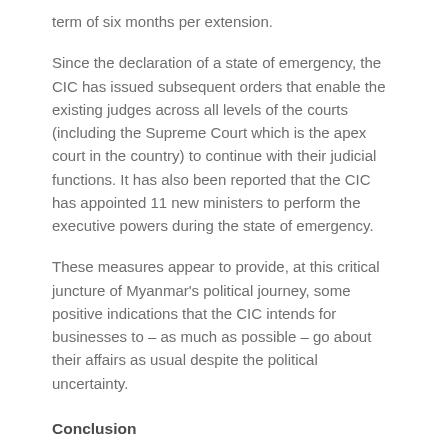term of six months per extension.
Since the declaration of a state of emergency, the CIC has issued subsequent orders that enable the existing judges across all levels of the courts (including the Supreme Court which is the apex court in the country) to continue with their judicial functions. It has also been reported that the CIC has appointed 11 new ministers to perform the executive powers during the state of emergency.
These measures appear to provide, at this critical juncture of Myanmar's political journey, some positive indications that the CIC intends for businesses to – as much as possible – go about their affairs as usual despite the political uncertainty.
Conclusion
The situation in Myanmar remains fluid and we will continue to issue updates on the political and legal developments in the country. Businesses are encouraged to monitor any